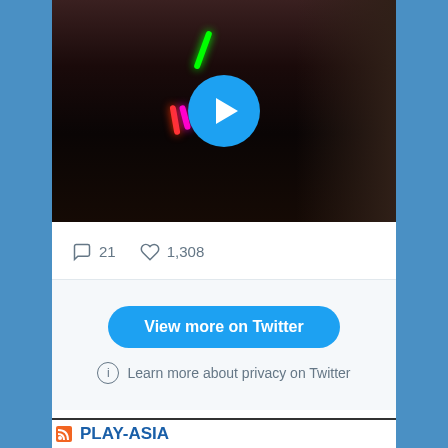[Figure (screenshot): Twitter/social media card showing a dark video thumbnail with colorful LED lights and a play button, with comment count 21 and like count 1,308, followed by a 'View more on Twitter' button and privacy notice, then a Play-Asia RSS section header at the bottom.]
21
1,308
View more on Twitter
Learn more about privacy on Twitter
PLAY-ASIA